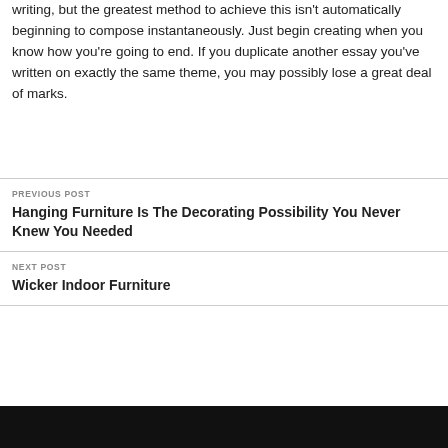writing, but the greatest method to achieve this isn't automatically beginning to compose instantaneously. Just begin creating when you know how you're going to end. If you duplicate another essay you've written on exactly the same theme, you may possibly lose a great deal of marks.
PREVIOUS POST
Hanging Furniture Is The Decorating Possibility You Never Knew You Needed
NEXT POST
Wicker Indoor Furniture